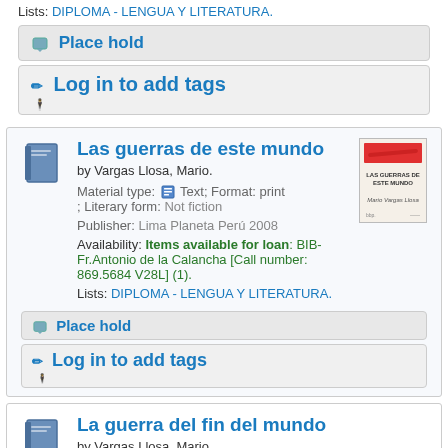Lists: DIPLOMA - LENGUA Y LITERATURA.
Place hold
Log in to add tags
Las guerras de este mundo
by Vargas Llosa, Mario.
Material type: Text; Format: print ; Literary form: Not fiction
Publisher: Lima Planeta Perú 2008
Availability: Items available for loan: BIB-Fr.Antonio de la Calancha [Call number: 869.5684 V28L] (1).
Lists: DIPLOMA - LENGUA Y LITERATURA.
Place hold
Log in to add tags
La guerra del fin del mundo
by Vargas Llosa, Mario.
Material type: Text; Format: print ; Literary form: Not fiction